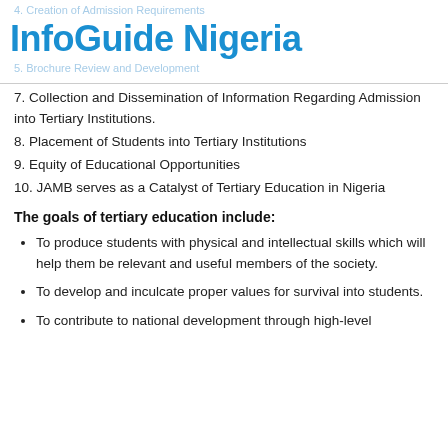4. Creation of Admission Requirements
InfoGuide Nigeria
5. Brochure Review and Development
7. Collection and Dissemination of Information Regarding Admission into Tertiary Institutions.
8. Placement of Students into Tertiary Institutions
9. Equity of Educational Opportunities
10. JAMB serves as a Catalyst of Tertiary Education in Nigeria
The goals of tertiary education include:
To produce students with physical and intellectual skills which will help them be relevant and useful members of the society.
To develop and inculcate proper values for survival into students.
To contribute to national development through high-level